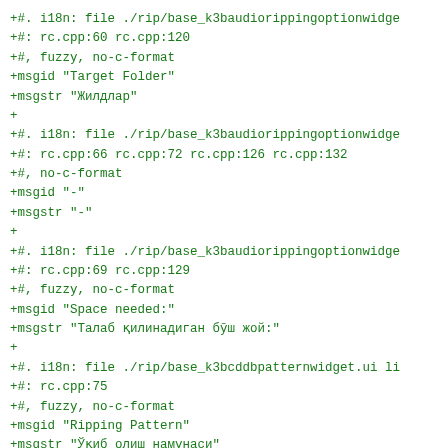+#. i18n: file ./rip/base_k3baudiorippingoptionwidge
+#: rc.cpp:60 rc.cpp:120
+#, fuzzy, no-c-format
+msgid "Target Folder"
+msgstr "Жилдлар"
+
+#. i18n: file ./rip/base_k3baudiorippingoptionwidge
+#: rc.cpp:66 rc.cpp:72 rc.cpp:126 rc.cpp:132
+#, no-c-format
+msgid "-"
+msgstr "-"
+
+#. i18n: file ./rip/base_k3baudiorippingoptionwidge
+#: rc.cpp:69 rc.cpp:129
+#, fuzzy, no-c-format
+msgid "Space needed:"
+msgstr "Талаб қилинадиган бўш жой:"
+
+#. i18n: file ./rip/base_k3bcddbpatternwidget.ui li
+#: rc.cpp:75
+#, fuzzy, no-c-format
+msgid "Ripping Pattern"
+msgstr "Ўқиб олиш намунаси"
+
+#. i18n: file ./rip/base_k3bcddbpatternwidget.ui li
+#: rc.cpp:78
+#, no-c-format
+msgid "Replace all blan&ks with:"
+msgstr ""
+